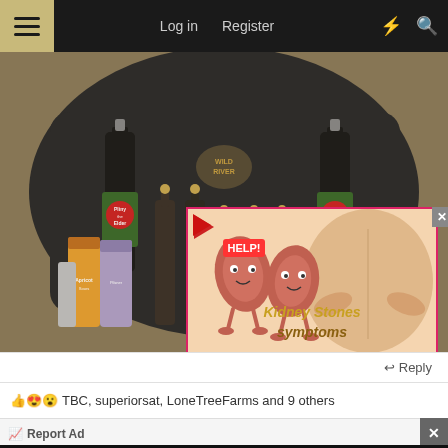☰  Log in  Register  ⚡  🔍
[Figure (photo): Photo of beer bottles and cans arranged on a carpet in front of a dark hoodie. Includes two large Pliny the Elder bottles, several small swing-top bottles, and various craft beer cans. An advertisement overlay showing 'Kidney Stones symptoms' with illustrated kidneys and a person holding their back is visible in the lower right of the image.]
Reply
TBC, superiorsat, LoneTreeFarms and 9 others
Report Ad
[Figure (screenshot): Bottom advertisement banner for BitLife game showing animated characters with fire effects and the BitLife logo.]